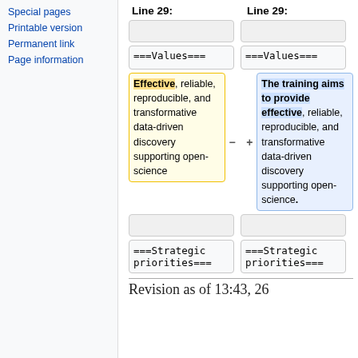Special pages
Printable version
Permanent link
Page information
| Line 29: | Line 29: |
| --- | --- |
|  |  |
| ===Values=== | ===Values=== |
| Effective, reliable, reproducible, and transformative data-driven discovery supporting open-science | The training aims to provide effective, reliable, reproducible, and transformative data-driven discovery supporting open-science. |
|  |  |
| ===Strategic priorities=== | ===Strategic priorities=== |
Revision as of 13:43, 26